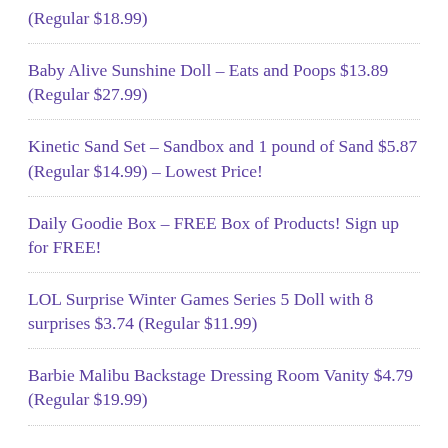(Regular $18.99)
Baby Alive Sunshine Doll – Eats and Poops $13.89 (Regular $27.99)
Kinetic Sand Set – Sandbox and 1 pound of Sand $5.87 (Regular $14.99) – Lowest Price!
Daily Goodie Box – FREE Box of Products! Sign up for FREE!
LOL Surprise Winter Games Series 5 Doll with 8 surprises $3.74 (Regular $11.99)
Barbie Malibu Backstage Dressing Room Vanity $4.79 (Regular $19.99)